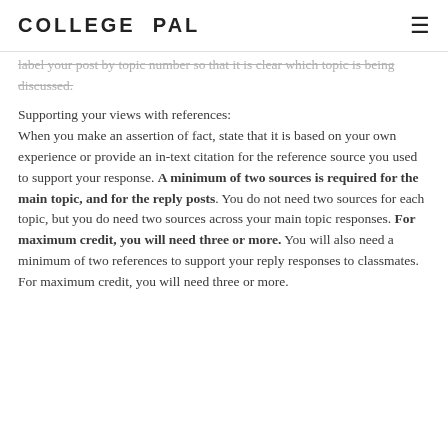COLLEGE PAL
label your post by topic number so that it is clear which topic is being discussed.
Supporting your views with references:
When you make an assertion of fact, state that it is based on your own experience or provide an in-text citation for the reference source you used to support your response. A minimum of two sources is required for the main topic, and for the reply posts. You do not need two sources for each topic, but you do need two sources across your main topic responses. For maximum credit, you will need three or more. You will also need a minimum of two references to support your reply responses to classmates. For maximum credit, you will need three or more.